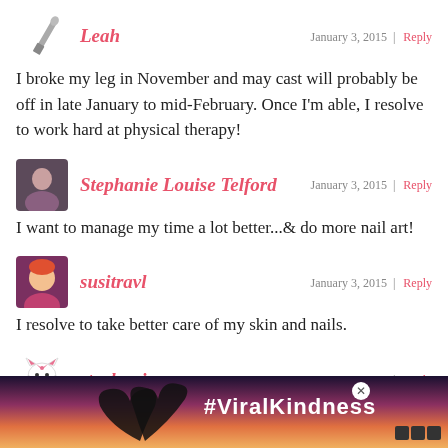Leah — January 3, 2015 | Reply
I broke my leg in November and may cast will probably be off in late January to mid-February. Once I'm able, I resolve to work hard at physical therapy!
Stephanie Louise Telford — January 3, 2015 | Reply
I want to manage my time a lot better...& do more nail art!
susitravl — January 3, 2015 | Reply
I resolve to take better care of my skin and nails.
stephanie — January 3, 2015 | Reply
i wanna lose weight
A Little Polish — January 3, 2015 | Reply
I'd ... (partially obscured by ad banner)
[Figure (infographic): Advertisement banner for #ViralKindness showing hands forming a heart shape against a sunset sky background with black background and text.]